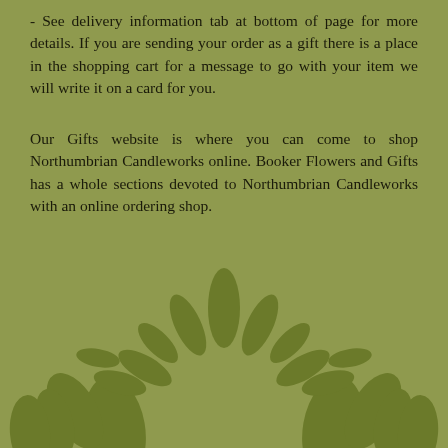- See delivery information tab at bottom of page for more details. If you are sending your order as a gift there is a place in the shopping cart for a message to go with your item we will write it on a card for you.
Our Gifts website is where you can come to shop Northumbrian Candleworks online. Booker Flowers and Gifts has a whole sections devoted to Northumbrian Candleworks with an online ordering shop.
[Figure (illustration): Decorative green leaf/plant motif illustration at bottom of page, showing stylized leaves and plant shapes in a darker olive green against the sage green background]